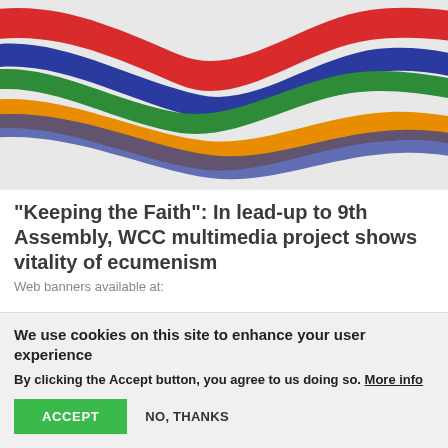[Figure (illustration): WCC decorative banner with colourful wavy ribbon stripes in red, blue, green, and orange on a white/grey background]
"Keeping the Faith": In lead-up to 9th Assembly, WCC multimedia project shows vitality of ecumenism
Web banners available at:
We use cookies on this site to enhance your user experience
By clicking the Accept button, you agree to us doing so. More info
ACCEPT
NO, THANKS